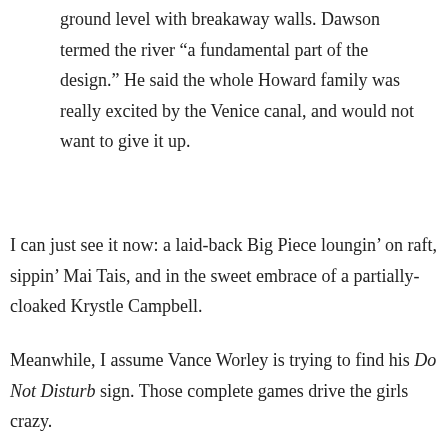ground level with breakaway walls. Dawson termed the river “a fundamental part of the design.” He said the whole Howard family was really excited by the Venice canal, and would not want to give it up.
I can just see it now: a laid-back Big Piece loungin’ on raft, sippin’ Mai Tais, and in the sweet embrace of a partially-cloaked Krystle Campbell.
Meanwhile, I assume Vance Worley is trying to find his Do Not Disturb sign. Those complete games drive the girls crazy.